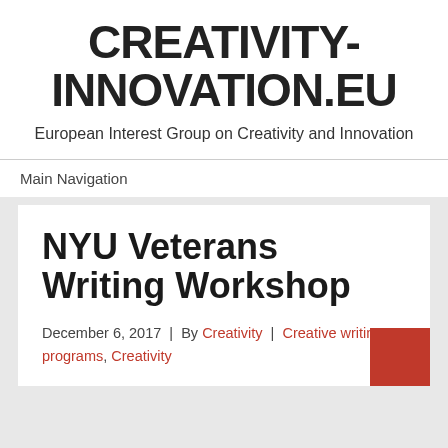CREATIVITY-INNOVATION.EU
European Interest Group on Creativity and Innovation
Main Navigation
NYU Veterans Writing Workshop
December 6, 2017  |  By Creativity  |  Creative writing programs, Creativity